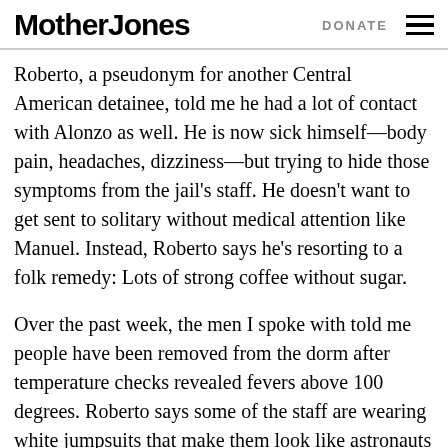Mother Jones | DONATE
Roberto, a pseudonym for another Central American detainee, told me he had a lot of contact with Alonzo as well. He is now sick himself—body pain, headaches, dizziness—but trying to hide those symptoms from the jail's staff. He doesn't want to get sent to solitary without medical attention like Manuel. Instead, Roberto says he's resorting to a folk remedy: Lots of strong coffee without sugar.
Over the past week, the men I spoke with told me people have been removed from the dorm after temperature checks revealed fevers above 100 degrees. Roberto says some of the staff are wearing white jumpsuits that make them look like astronauts or crime scene technicians. He described